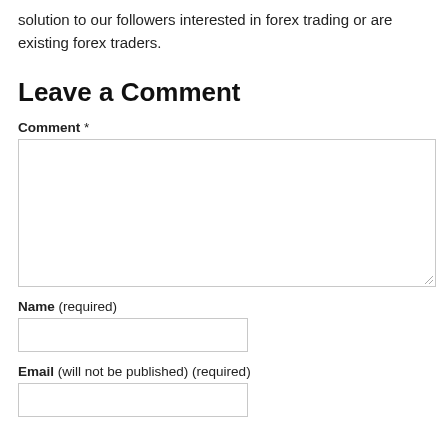solution to our followers interested in forex trading or are existing forex traders.
Leave a Comment
Comment *
Name (required)
Email (will not be published) (required)